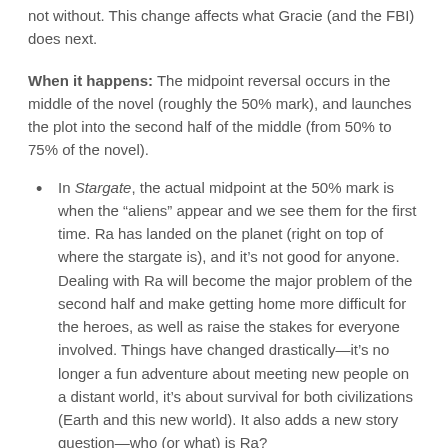not without. This change affects what Gracie (and the FBI) does next.
When it happens: The midpoint reversal occurs in the middle of the novel (roughly the 50% mark), and launches the plot into the second half of the middle (from 50% to 75% of the novel).
In Stargate, the actual midpoint at the 50% mark is when the “aliens” appear and we see them for the first time. Ra has landed on the planet (right on top of where the stargate is), and it’s not good for anyone. Dealing with Ra will become the major problem of the second half and make getting home more difficult for the heroes, as well as raise the stakes for everyone involved. Things have changed drastically—it’s no longer a fun adventure about meeting new people on a distant world, it’s about survival for both civilizations (Earth and this new world). It also adds a new story question—who (or what) is Ra?